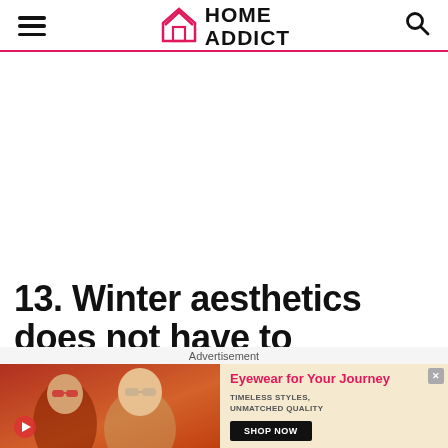HOME ADDICT
[Figure (other): Large white/blank advertisement area in the center of the page]
13. Winter aesthetics does not have to
Advertisement
[Figure (photo): Advertisement banner for eyewear. Shows two women wearing sunglasses on orange/brown background on left. Right side has yellow/cream background with text 'Eyewear for Your Journey', 'TIMELESS STYLES, UNMATCHED QUALITY', and a 'SHOP NOW' button. Has a close X button.]